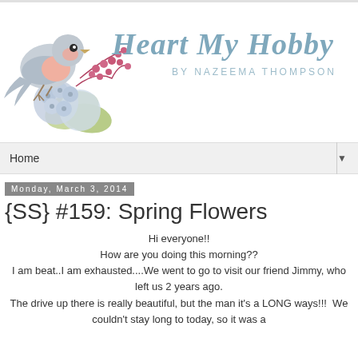[Figure (illustration): Blog header illustration with a bird perched on flowers (hydrangeas and berries), with text 'Heart My Hobby by Nazeema Thompson']
Home ▼
Monday, March 3, 2014
{SS} #159: Spring Flowers
Hi everyone!!
How are you doing this morning??
I am beat..I am exhausted....We went to go to visit our friend Jimmy, who left us 2 years ago.
The drive up there is really beautiful, but the man it's a LONG ways!!!  We couldn't stay long to today, so it was a